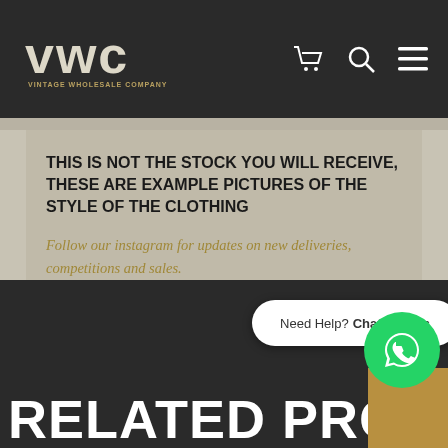[Figure (logo): VWC Vintage Wholesale Company logo on dark header with shopping cart, search, and menu icons]
THIS IS NOT THE STOCK YOU WILL RECEIVE, THESE ARE EXAMPLE PICTURES OF THE STYLE OF THE CLOTHING
Follow our instagram for updates on new deliveries, competitions and sales.
Add to Wishlist
[Figure (infographic): Payment method icons: Klarna, Mastercard, Maestro, Visa, Visa Debit]
Need Help? Chat with us
RELATED PRODUCTS